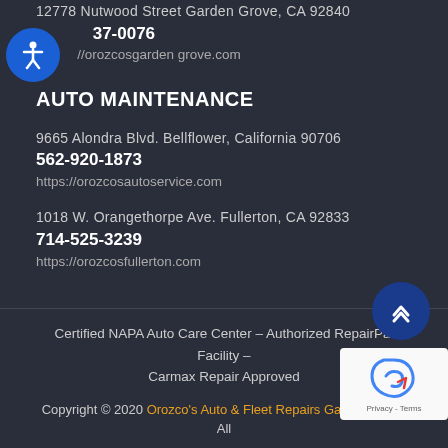12778 Nutwood Street Garden Grove, CA 92840
737-0076
//orozcosgarden grove.com
AUTO MAINTENANCE
9665 Alondra Blvd. Bellflower, California 90706
562-920-1873
https://orozcosautoservice.com
1018 W. Orangethorpe Ave. Fullerton, CA 92833
714-525-3239
https://orozcosfullerton.com
Certified NAPA Auto Care Center – Authorized RepairPal Facility – Carmax Repair Approved
Copyright © 2020 Orozco's Auto & Fleet Repairs Garden Grove All